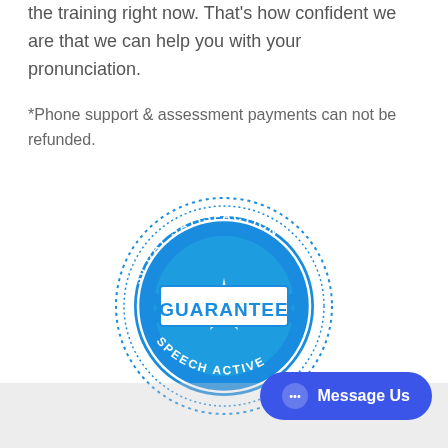the training right now. That's how confident we are that we can help you with your pronunciation.
*Phone support & assessment payments can not be refunded.
[Figure (illustration): A blue circular stamp/seal graphic reading '30 DAY SATISFACTION GUARANTEE SPEECH ACTIVE' with decorative ribbon banner across the center]
Message Us